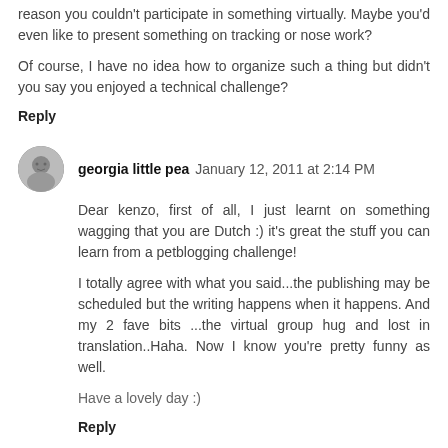reason you couldn't participate in something virtually. Maybe you'd even like to present something on tracking or nose work?
Of course, I have no idea how to organize such a thing but didn't you say you enjoyed a technical challenge?
Reply
georgia little pea  January 12, 2011 at 2:14 PM
Dear kenzo, first of all, I just learnt on something wagging that you are Dutch :) it's great the stuff you can learn from a petblogging challenge!
I totally agree with what you said…the publishing may be scheduled but the writing happens when it happens. And my 2 fave bits …the virtual group hug and lost in translation..Haha. Now I know you're pretty funny as well.
Have a lovely day :)
Reply